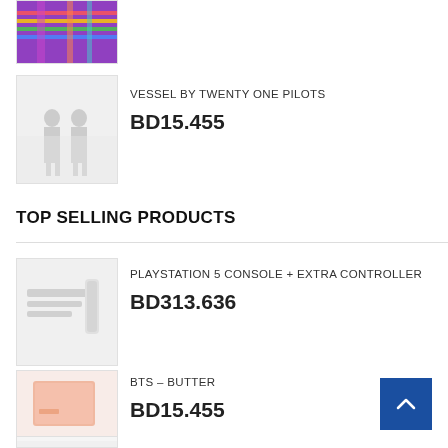[Figure (photo): Colorful product image with rainbow/purple background, partially cropped at top]
[Figure (photo): Vessel by Twenty One Pilots album/product image with two figures on white background]
VESSEL BY TWENTY ONE PILOTS
BD15.455
TOP SELLING PRODUCTS
[Figure (photo): PlayStation 5 Console + Extra Controller product image]
PLAYSTATION 5 CONSOLE + EXTRA CONTROLLER
BD313.636
[Figure (photo): BTS Butter album product image, peach/pink box]
BTS – BUTTER
BD15.455
[Figure (photo): Partially visible product image at bottom]